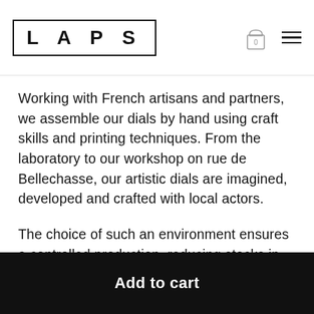LAPS
Working with French artisans and partners, we assemble our dials by hand using craft skills and printing techniques. From the laboratory to our workshop on rue de Bellechasse, our artistic dials are imagined, developed and crafted with local actors.
The choice of such an environment ensures a controlled production, reducing stocks in order to produce only what is necessary. It is for this same
Add to cart